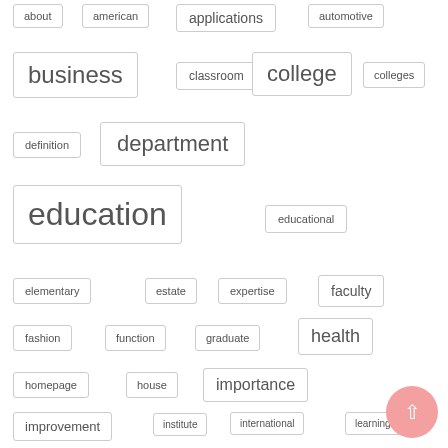[Figure (infographic): Tag cloud / word cloud of education-related terms in varying font sizes with bordered pill/rectangle tags, arranged in rows. Words include: about, american, applications, automotive, business, classroom, college, colleges, definition, department, education, educational, elementary, estate, expertise, faculty, fashion, function, graduate, health, homepage, house, importance, improvement, institute, international, learning, leisure, means, online, presents, public, pupil, residence, secondary, society, state]